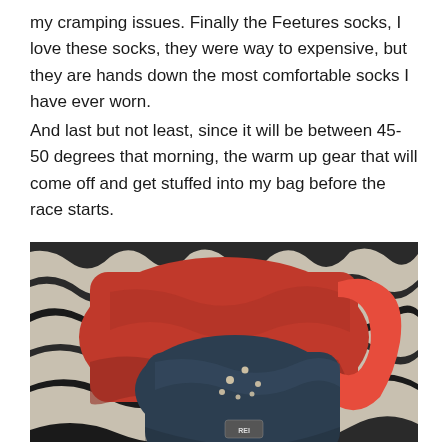my cramping issues. Finally the Feetures socks, I love these socks, they were way to expensive, but they are hands down the most comfortable socks I have ever worn.
And last but not least, since it will be between 45-50 degrees that morning, the warm up gear that will come off and get stuffed into my bag before the race starts.
[Figure (photo): A photo of red athletic pants and a dark grey jacket laid out on a black and white zebra-print surface.]